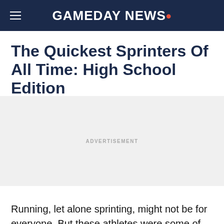GAMEDAY NEWS.
The Quickest Sprinters Of All Time: High School Edition
ATHLETES | 5/17/22
[Figure (other): Advertisement placeholder block with light gray background and 'ADVERTISEMENT' label in center]
Running, let alone sprinting, might not be for everyone. But these athletes were some of the best sprinters around while they were in high school.